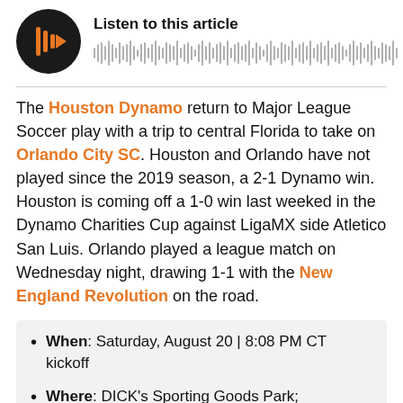[Figure (other): Audio player widget with black circular play button and orange play icon, with text 'Listen to this article' and a waveform/progress bar]
The Houston Dynamo return to Major League Soccer play with a trip to central Florida to take on Orlando City SC. Houston and Orlando have not played since the 2019 season, a 2-1 Dynamo win. Houston is coming off a 1-0 win last weeked in the Dynamo Charities Cup against LigaMX side Atletico San Luis. Orlando played a league match on Wednesday night, drawing 1-1 with the New England Revolution on the road.
When: Saturday, August 20 | 8:08 PM CT kickoff
Where: DICK's Sporting Goods Park; Commerce City, Colorado